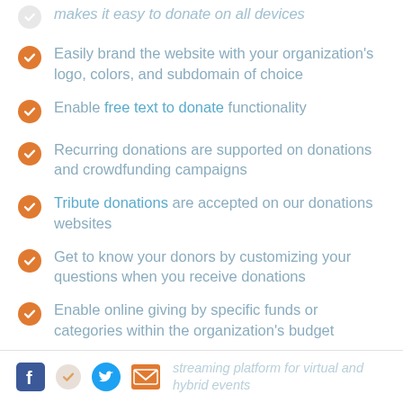makes it easy to donate on all devices
Easily brand the website with your organization's logo, colors, and subdomain of choice
Enable free text to donate functionality
Recurring donations are supported on donations and crowdfunding campaigns
Tribute donations are accepted on our donations websites
Get to know your donors by customizing your questions when you receive donations
Enable online giving by specific funds or categories within the organization's budget
streaming platform for virtual and hybrid events